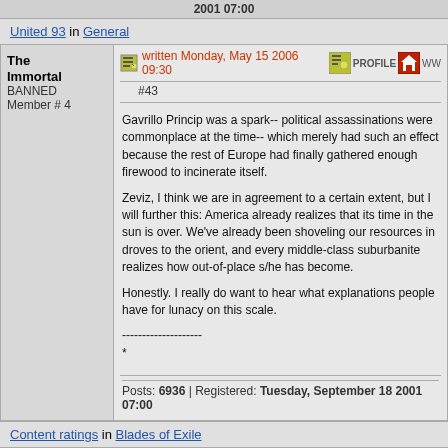2001 07:00
United 93 in General
The Immortal
BANNED
Member # 4
written Monday, May 15 2006 09:30 #43
Gavrillo Princip was a spark-- political assassinations were commonplace at the time-- which merely had such an effect because the rest of Europe had finally gathered enough firewood to incinerate itself.

Zeviz, I think we are in agreement to a certain extent, but I will further this: America already realizes that its time in the sun is over. We've already been shoveling our resources in droves to the orient, and every middle-class suburbanite realizes how out-of-place s/he has become.

Honestly. I really do want to hear what explanations people have for lunacy on this scale.

--------------------
*
Posts: 6936 | Registered: Tuesday, September 18 2001 07:00
Content ratings in Blades of Exile
The
written Sunday, May 14 2006 20:53